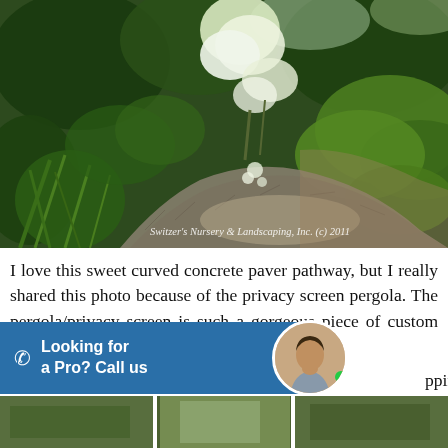[Figure (photo): Curved concrete paver pathway surrounded by lush green garden plants including hostas, ferns, and white flowering hydrangeas. Watermark reads: Switzer's Nursery & Landscaping, Inc. (c) 2011]
I love this sweet curved concrete paver pathway, but I really shared this photo because of the privacy screen pergola. The pergola/privacy screen is such a gorgeous piece of custom carpentry ... pping stones.
Looking for a Pro? Call us